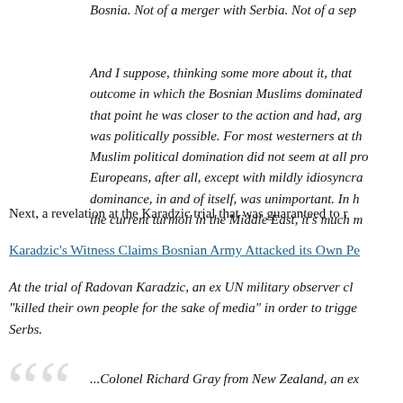Bosnia. Not of a merger with Serbia. Not of a sep...
And I suppose, thinking some more about it, that ... outcome in which the Bosnian Muslims dominated ... that point he was closer to the action and had, arg... was politically possible. For most westerners at th... Muslim political domination did not seem at all pro... Europeans, after all, except with mildly idiosyncra... dominance, in and of itself, was unimportant. In h... the current turmoil in the Middle East, it's much m...
Next, a revelation at the Karadzic trial that was guaranteed to ...
Karadzic's Witness Claims Bosnian Army Attacked its Own Pe...
At the trial of Radovan Karadzic, an ex UN military observer cl... "killed their own people for the sake of media" in order to trigge... Serbs.
...Colonel Richard Gray from New Zealand, an ex...